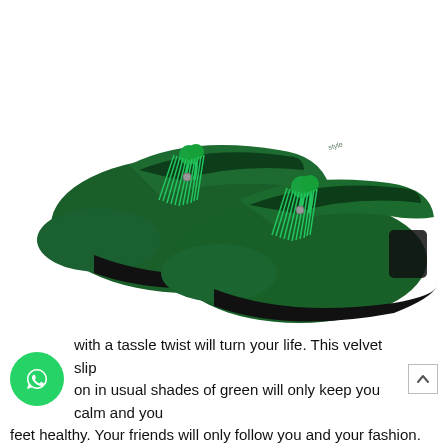[Figure (photo): A pair of dark green velvet tassel loafer shoes photographed on a white background. The shoes have bright green decorative tassels on the vamp.]
with a tassle twist will turn your life. This velvet slip on in usual shades of green will only keep you calm and you feet healthy. Your friends will only follow you and your fashion.